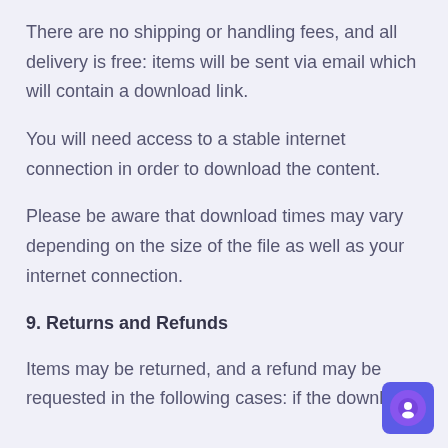There are no shipping or handling fees, and all delivery is free: items will be sent via email which will contain a download link.
You will need access to a stable internet connection in order to download the content.
Please be aware that download times may vary depending on the size of the file as well as your internet connection.
9. Returns and Refunds
Items may be returned, and a refund may be requested in the following cases: if the download